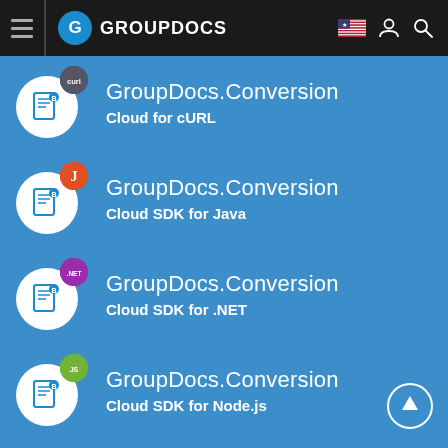GROUPDOCS
GroupDocs.Conversion Cloud for cURL
GroupDocs.Conversion Cloud SDK for Java
GroupDocs.Conversion Cloud SDK for .NET
GroupDocs.Conversion Cloud SDK for Node.js